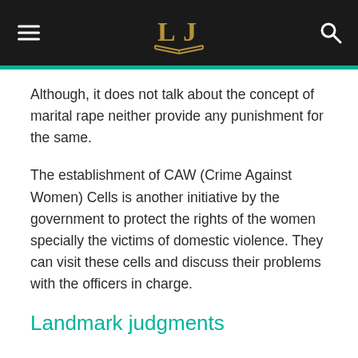LJ (logo)
Although, it does not talk about the concept of marital rape neither provide any punishment for the same.
The establishment of CAW (Crime Against Women) Cells is another initiative by the government to protect the rights of the women specially the victims of domestic violence. They can visit these cells and discuss their problems with the officers in charge.
Landmark judgments